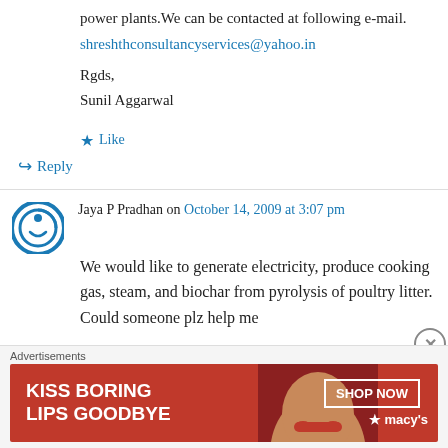power plants.We can be contacted at following e-mail.
shreshthconsultancyservices@yahoo.in
Rgds,
Sunil Aggarwal
Like
Reply
Jaya P Pradhan on October 14, 2009 at 3:07 pm
We would like to generate electricity, produce cooking gas, steam, and biochar from pyrolysis of poultry litter. Could someone plz help me
Advertisements
[Figure (photo): Macy's advertisement banner: 'KISS BORING LIPS GOODBYE' with SHOP NOW button and Macy's star logo, featuring a woman's face]